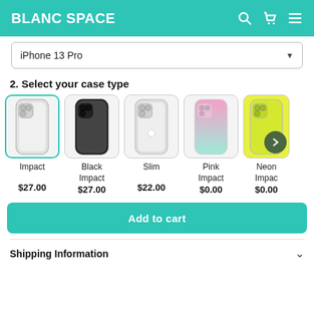BLANC SPACE
iPhone 13 Pro
2. Select your case type
[Figure (other): Row of iPhone case options: Impact (selected, clear), Black Impact, Slim, Pink Impact, Neon Impact (partially visible) with prices $27.00, $27.00, $22.00, $0.00, $0.00]
Add to cart
Shipping Information